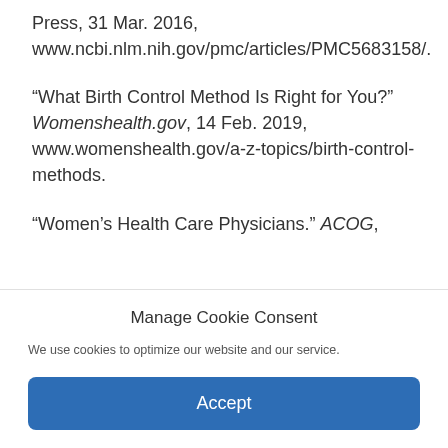Press, 31 Mar. 2016, www.ncbi.nlm.nih.gov/pmc/articles/PMC5683158/.
“What Birth Control Method Is Right for You?” Womenshealth.gov, 14 Feb. 2019, www.womenshealth.gov/a-z-topics/birth-control-methods.
“Women’s Health Care Physicians.” ACOG,
Manage Cookie Consent
We use cookies to optimize our website and our service.
Accept